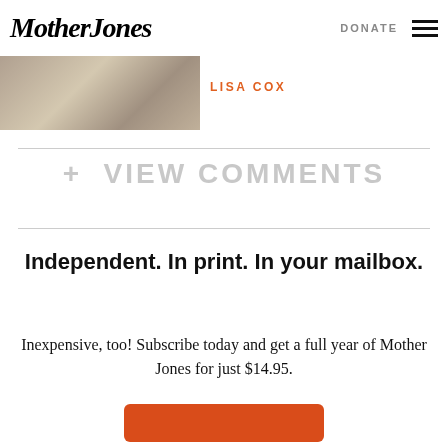Mother Jones
DONATE
[Figure (photo): Partial photo of animal/nature subject, cropped at top-left]
LISA COX
+ VIEW COMMENTS
Independent. In print. In your mailbox.
Inexpensive, too! Subscribe today and get a full year of Mother Jones for just $14.95.